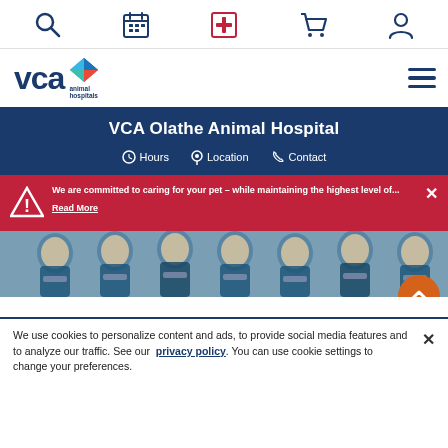Top navigation bar with search, calendar, medical cross, cart, and account icons
[Figure (logo): VCA Animal Hospitals logo with blue text and multicolor diamond shape]
VCA Olathe Animal Hospital
Hours  Location  Contact
We are committed to caring for your pet – while maintaining the highest level of... Read More
[Figure (photo): Group of veterinary staff wearing face masks standing outdoors in front of building]
We use cookies to personalize content and ads, to provide social media features and to analyze our traffic. See our privacy policy. You can use cookie settings to change your preferences.